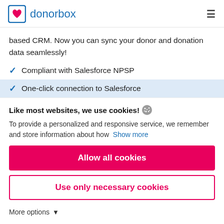donorbox
based CRM. Now you can sync your donor and donation data seamlessly!
Compliant with Salesforce NPSP
One-click connection to Salesforce
Like most websites, we use cookies!
To provide a personalized and responsive service, we remember and store information about how  Show more
Allow all cookies
Use only necessary cookies
More options